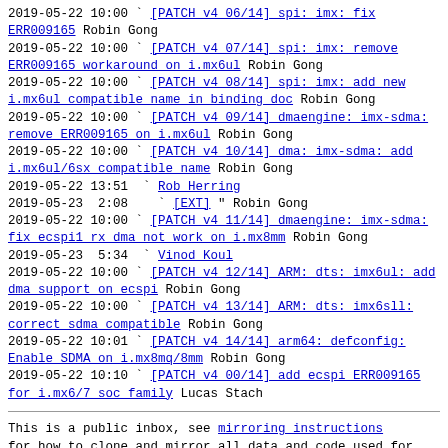2019-05-22 10:00 ` [PATCH v4 06/14] spi: imx: fix ERR009165 Robin Gong
2019-05-22 10:00 ` [PATCH v4 07/14] spi: imx: remove ERR009165 workaround on i.mx6ul Robin Gong
2019-05-22 10:00 ` [PATCH v4 08/14] spi: imx: add new i.mx6ul compatible name in binding doc Robin Gong
2019-05-22 10:00 ` [PATCH v4 09/14] dmaengine: imx-sdma: remove ERR009165 on i.mx6ul Robin Gong
2019-05-22 10:00 ` [PATCH v4 10/14] dma: imx-sdma: add i.mx6ul/6sx compatible name Robin Gong
2019-05-22 13:51 ` Rob Herring
2019-05-23  2:08   ` [EXT] " Robin Gong
2019-05-22 10:00 ` [PATCH v4 11/14] dmaengine: imx-sdma: fix ecspi1 rx dma not work on i.mx8mm Robin Gong
2019-05-23  5:34 ` Vinod Koul
2019-05-22 10:00 ` [PATCH v4 12/14] ARM: dts: imx6ul: add dma support on ecspi Robin Gong
2019-05-22 10:00 ` [PATCH v4 13/14] ARM: dts: imx6sll: correct sdma compatible Robin Gong
2019-05-22 10:01 ` [PATCH v4 14/14] arm64: defconfig: Enable SDMA on i.mx8mq/8mm Robin Gong
2019-05-22 10:10 ` [PATCH v4 00/14] add ecspi ERR009165 for i.mx6/7 soc family Lucas Stach
This is a public inbox, see mirroring instructions for how to clone and mirror all data and code used for this inbox; as well as URLs for NNTP newsgroup(s).